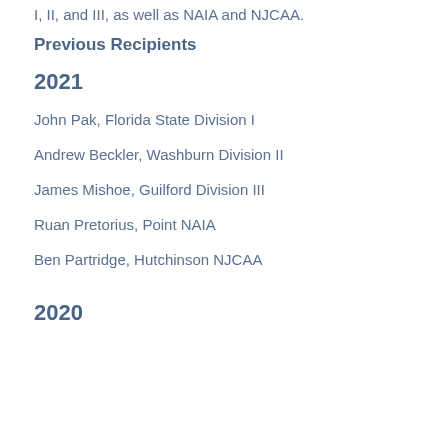I, II, and III, as well as NAIA and NJCAA.
Previous Recipients
2021
John Pak, Florida State Division I
Andrew Beckler, Washburn Division II
James Mishoe, Guilford Division III
Ruan Pretorius, Point NAIA
Ben Partridge, Hutchinson NJCAA
2020